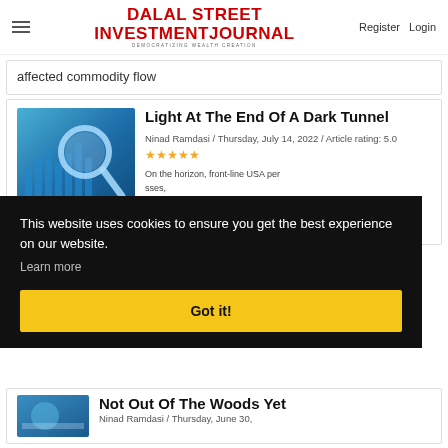Dalal Street Investment Journal — Democratizing Wealth Creation | Register Login
affected commodity flow
Light At The End Of A Dark Tunnel
Ninad Ramdasi / Thursday, July 14, 2022 / Article rating: 5.0
This website uses cookies to ensure you get the best experience on our website. Learn more
Got it!
Not Out Of The Woods Yet
Ninad Ramdasi / Thursday, June 30,